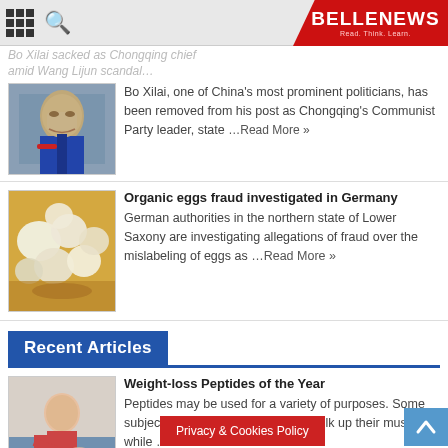BELLENEWS - Read. Think. Learn.
Bo Xilai sacked as Chongqing chief amid Wang Lijun scandal...
Bo Xilai, one of China's most prominent politicians, has been removed from his post as Chongqing's Communist Party leader, state ...Read More »
Organic eggs fraud investigated in Germany
German authorities in the northern state of Lower Saxony are investigating allegations of fraud over the mislabeling of eggs as ...Read More »
Recent Articles
Weight-loss Peptides of the Year
Peptides may be used for a variety of purposes. Some subjects desire to strengthen and bulk up their muscles, while ...Read More »